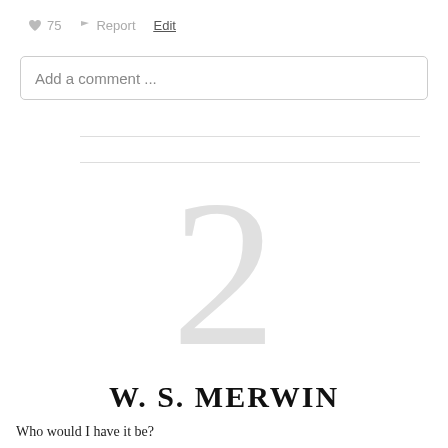♥ 75   ⚑ Report   Edit
Add a comment ...
[Figure (other): Large light gray numeral 2 as a page/chapter separator]
W. S. MERWIN
Who would I have it be?